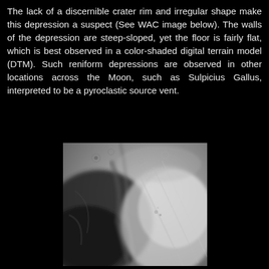The lack of a discernible crater rim and irregular shape make this depression a suspect (See WAC image below). The walls of the depression are steep-sloped, yet the floor is fairly flat, which is best observed in a color-shaded digital terrain model (DTM). Such reniform depressions are observed in other locations across the Moon, such as Sulpicius Gallus, interpreted to be a pyroclastic source vent.
[Figure (photo): Grayscale lunar surface image (WAC image) showing a depression with steep walls and a relatively flat floor. The left portion is darker showing the steep shadowed wall, while the right portion is lighter showing the flat floor area. The image is a close-up of a reniform depression on the Moon.]